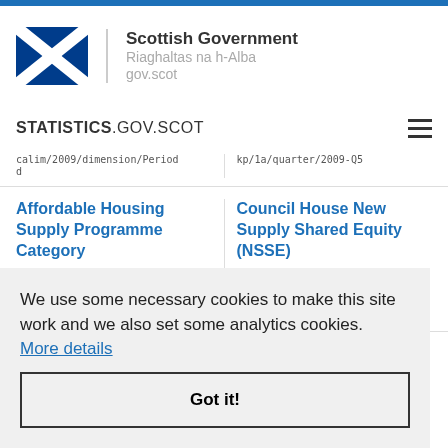[Figure (logo): Scottish Government logo with Saltire flag and text: Scottish Government, Riaghaltas na h-Alba, gov.scot]
STATISTICS.GOV.SCOT
calim/2009/dimension/Period
d
kp/1a/quarter/2009-Q5
Affordable Housing Supply Programme Category
http://statistics.gov.scot/def/dimension/affordableHousi
Council House New Supply Shared Equity (NSSE)
http://statistics.gov.scot/def/concept/affordable-housing/sha
We use some necessary cookies to make this site work and we also set some analytics cookies. More details
Got it!
t/d
g-s
t/d
ct/
completions